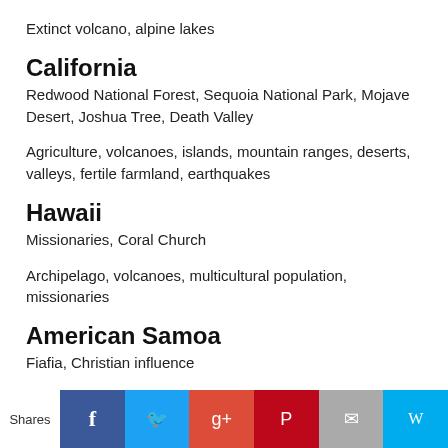Extinct volcano, alpine lakes
California
Redwood National Forest, Sequoia National Park, Mojave Desert, Joshua Tree, Death Valley
Agriculture, volcanoes, islands, mountain ranges, deserts, valleys, fertile farmland, earthquakes
Hawaii
Missionaries, Coral Church
Archipelago, volcanoes, multicultural population, missionaries
American Samoa
Fiafia, Christian influence